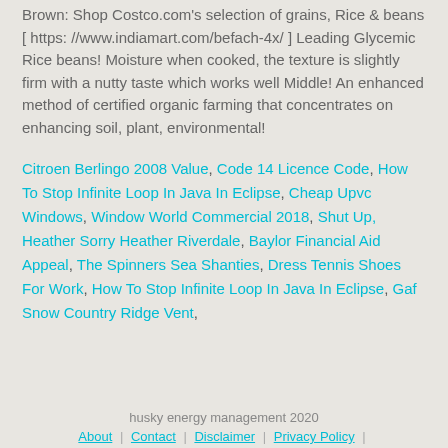Brown: Shop Costco.com's selection of grains, Rice & beans [ https://www.indiamart.com/befach-4x/ ] Leading Glycemic Rice beans! Moisture when cooked, the texture is slightly firm with a nutty taste which works well Middle! An enhanced method of certified organic farming that concentrates on enhancing soil, plant, environmental!
Citroen Berlingo 2008 Value, Code 14 Licence Code, How To Stop Infinite Loop In Java In Eclipse, Cheap Upvc Windows, Window World Commercial 2018, Shut Up, Heather Sorry Heather Riverdale, Baylor Financial Aid Appeal, The Spinners Sea Shanties, Dress Tennis Shoes For Work, How To Stop Infinite Loop In Java In Eclipse, Gaf Snow Country Ridge Vent,
husky energy management 2020 | About | Contact | Disclaimer | Privacy Policy |